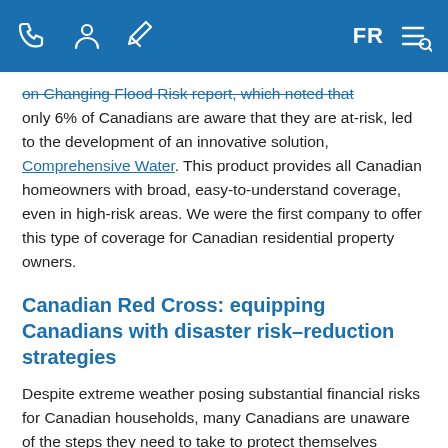[Navigation icons] FR [Menu icon]
on changing Flood Risk report, which noted that only 6% of Canadians are aware that they are at-risk, led to the development of an innovative solution, Comprehensive Water. This product provides all Canadian homeowners with broad, easy-to-understand coverage, even in high-risk areas. We were the first company to offer this type of coverage for Canadian residential property owners.
Canadian Red Cross: equipping Canadians with disaster risk–reduction strategies
Despite extreme weather posing substantial financial risks for Canadian households, many Canadians are unaware of the steps they need to take to protect themselves against this threat. We partnered with the Canadian Red Cross to build...